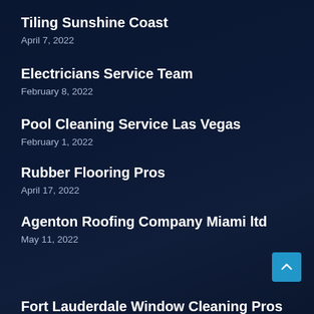Tiling Sunshine Coast
April 7, 2022
Electricians Service Team
February 8, 2022
Pool Cleaning Service Las Vegas
February 1, 2022
Rubber Flooring Pros
April 17, 2022
Agenton Roofing Company Miami ltd
May 11, 2022
Fort Lauderdale Window Cleaning Pros